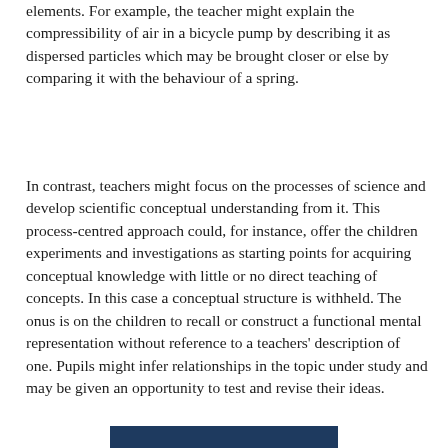elements. For example, the teacher might explain the compressibility of air in a bicycle pump by describing it as dispersed particles which may be brought closer or else by comparing it with the behaviour of a spring.
In contrast, teachers might focus on the processes of science and develop scientific conceptual understanding from it. This process-centred approach could, for instance, offer the children experiments and investigations as starting points for acquiring conceptual knowledge with little or no direct teaching of concepts. In this case a conceptual structure is withheld. The onus is on the children to recall or construct a functional mental representation without reference to a teachers' description of one. Pupils might infer relationships in the topic under study and may be given an opportunity to test and revise their ideas.
[Figure (other): Dark navy/blue rectangular bar at the bottom of the page, partial view suggesting a figure or section header below]